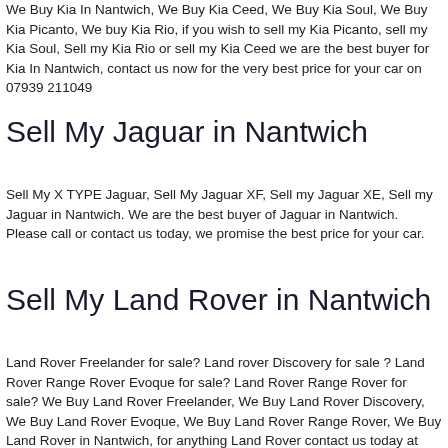We Buy Kia In Nantwich, We Buy Kia Ceed, We Buy Kia Soul, We Buy Kia Picanto, We buy Kia Rio, if you wish to sell my Kia Picanto, sell my Kia Soul, Sell my Kia Rio or sell my Kia Ceed we are the best buyer for Kia In Nantwich, contact us now for the very best price for your car on 07939 211049
Sell My Jaguar in Nantwich
Sell My X TYPE Jaguar, Sell My Jaguar XF, Sell my Jaguar XE, Sell my Jaguar in Nantwich. We are the best buyer of Jaguar in Nantwich. Please call or contact us today, we promise the best price for your car.
Sell My Land Rover in Nantwich
Land Rover Freelander for sale? Land rover Discovery for sale ? Land Rover Range Rover Evoque for sale? Land Rover Range Rover for sale? We Buy Land Rover Freelander, We Buy Land Rover Discovery, We Buy Land Rover Evoque, We Buy Land Rover Range Rover, We Buy Land Rover in Nantwich, for anything Land Rover contact us today at MC Cars. We promise to pay more than webuyancar and